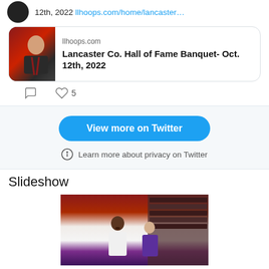12th, 2022 llhoops.com/home/lancaster…
[Figure (photo): Tweet link card showing a basketball coach photo with llhoops.com domain and title 'Lancaster Co. Hall of Fame Banquet- Oct. 12th, 2022']
♡ 5
View more on Twitter
Learn more about privacy on Twitter
Slideshow
[Figure (photo): Two female basketball players on court, one in white jersey, one in purple/yellow jersey, arena seats visible in background]